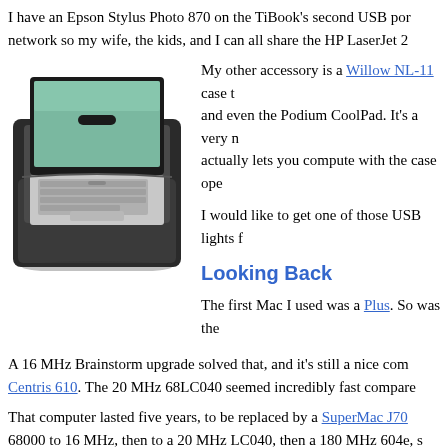I have an Epson Stylus Photo 870 on the TiBook's second USB por network so my wife, the kids, and I can all share the HP LaserJet 2
[Figure (photo): A laptop computer open inside a black carrying case]
My other accessory is a Willow NL-11 case t and even the Podium CoolPad. It's a very n actually lets you compute with the case ope
I would like to get one of those USB lights f
Looking Back
The first Mac I used was a Plus. So was the A 16 MHz Brainstorm upgrade solved that, and it's still a nice com Centris 610. The 20 MHz 68LC040 seemed incredibly fast compare
That computer lasted five years, to be replaced by a SuperMac J70 68000 to 16 MHz, then to a 20 MHz LC040, then a 180 MHz 604e, s clam with a 400 MHz G4.
Looking Forward
When I bought the TiBook, I planned on getting three years of use should have 512 MB of memory, of which I had allocated 128 MB